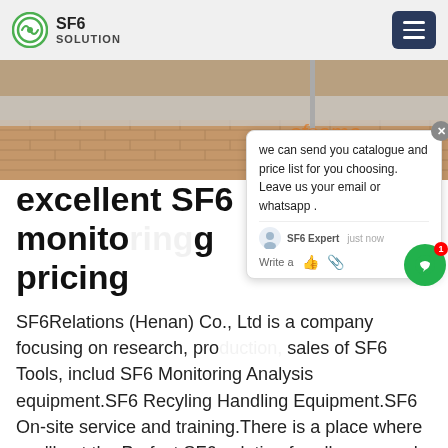SF6 SOLUTION
[Figure (photo): Outdoor brick pavement/ground area with a utility pole or similar structure visible, with 'sfsoma' watermark text overlay]
excellent SF6 monitoring pricing
SF6Relations (Henan) Co., Ltd is a company focusing on research, production, sales of SF6 Tools, includ SF6 Monitoring Analysis equipment.SF6 Recyling Handling Equipment.SF6 On-site service and training.There is a place where you'll get the Perfect SF6 solution for all your needs. We have 421 employees, factory covering as
we can send you catalogue and price list for you choosing.
Leave us your email or whatsapp .